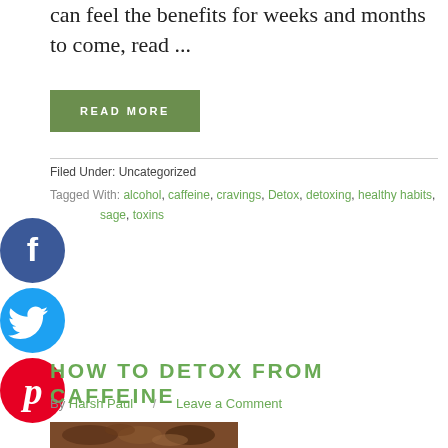can feel the benefits for weeks and months to come, read ...
READ MORE
Filed Under: Uncategorized
Tagged With: alcohol, caffeine, cravings, Detox, detoxing, healthy habits, massage, toxins
[Figure (logo): Facebook social share icon - blue circle with white F]
[Figure (logo): Twitter social share icon - blue circle with white bird]
[Figure (logo): Pinterest social share icon - red circle with white P]
HOW TO DETOX FROM CAFFEINE
By Harsh Paul / Leave a Comment
[Figure (photo): Close-up photo of roasted coffee beans with warm brown tones]